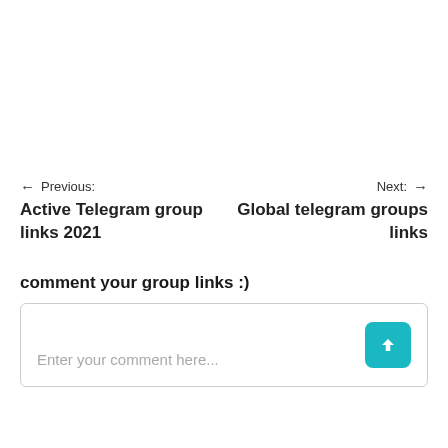← Previous: Active Telegram group links 2021
Next: → Global telegram groups links
comment your group links :)
Enter your comment here...